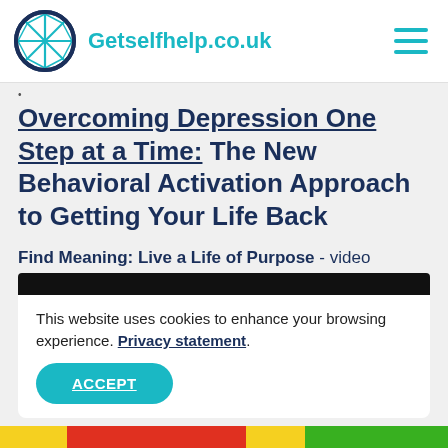Getselfhelp.co.uk
Overcoming Depression One Step at a Time: The New Behavioral Activation Approach to Getting Your Life Back
Find Meaning: Live a Life of Purpose - video
This website uses cookies to enhance your browsing experience. Privacy statement.
ACCEPT